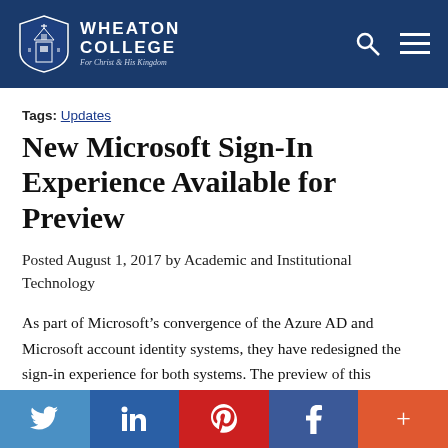[Figure (logo): Wheaton College logo with shield and text 'WHEATON COLLEGE For Christ and His Kingdom', search icon and menu icon on right]
Tags: Updates
New Microsoft Sign-In Experience Available for Preview
Posted August 1, 2017 by Academic and Institutional Technology
As part of Microsoft’s convergence of the Azure AD and Microsoft account identity systems, they have redesigned the sign-in experience for both systems. The preview of this redesign is now available.
[Figure (infographic): Social sharing bar with Twitter, LinkedIn, Pinterest, Facebook, and More buttons]